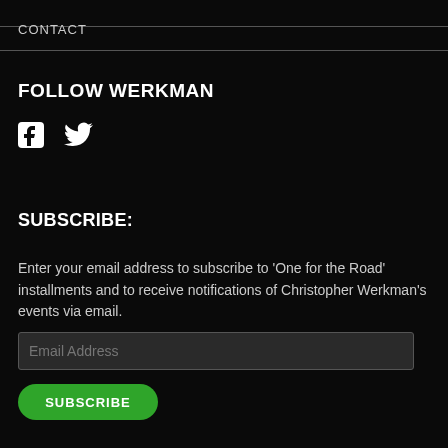CONTACT
FOLLOW WERKMAN
[Figure (illustration): Facebook and Twitter social media icons in white on black background]
SUBSCRIBE:
Enter your email address to subscribe to 'One for the Road' installments and to receive notifications of Christopher Werkman's events via email.
Email Address
SUBSCRIBE